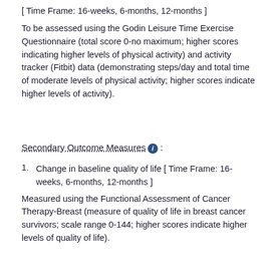[ Time Frame: 16-weeks, 6-months, 12-months ]
To be assessed using the Godin Leisure Time Exercise Questionnaire (total score 0-no maximum; higher scores indicating higher levels of physical activity) and activity tracker (Fitbit) data (demonstrating steps/day and total time of moderate levels of physical activity; higher scores indicate higher levels of activity).
Secondary Outcome Measures :
1. Change in baseline quality of life [ Time Frame: 16-weeks, 6-months, 12-months ]
Measured using the Functional Assessment of Cancer Therapy-Breast (measure of quality of life in breast cancer survivors; scale range 0-144; higher scores indicate higher levels of quality of life).